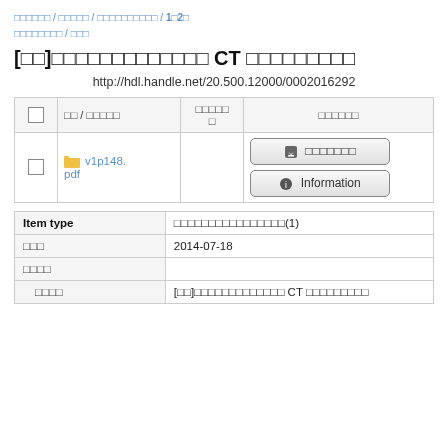□□□□□□ / □□□□□ / □□□□□□□□□□ / 1□2□ □□□□□□□□ / □□□
[□□]□□□□□□□□□□□□□ CT □□□□□□□□□
http://hdl.handle.net/20.500.12000/0002016292
|  | □□ / □□□□□ | □□□□□□ | □□□□□□ |
| --- | --- | --- | --- |
|  | v1p148.pdf |  | □□□□□□□ / Information |
| Item type | □□□□□□□□□□□□□□□□(1) |
| --- | --- |
| □□□ | 2014-07-18 |
| □□□□ |  |
| □□□□ | [□□]□□□□□□□□□□□□□ CT □□□□□□□□□ |